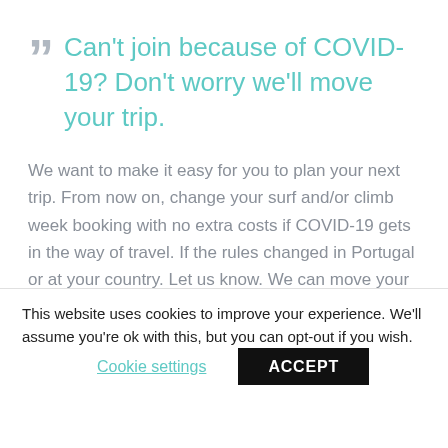Can't join because of COVID-19? Don't worry we'll move your trip.
We want to make it easy for you to plan your next trip. From now on, change your surf and/or climb week booking with no extra costs if COVID-19 gets in the way of travel. If the rules changed in Portugal or at your country. Let us know. We can move your time with us to a different date, anytime in the next
This website uses cookies to improve your experience. We'll assume you're ok with this, but you can opt-out if you wish.
Cookie settings
ACCEPT